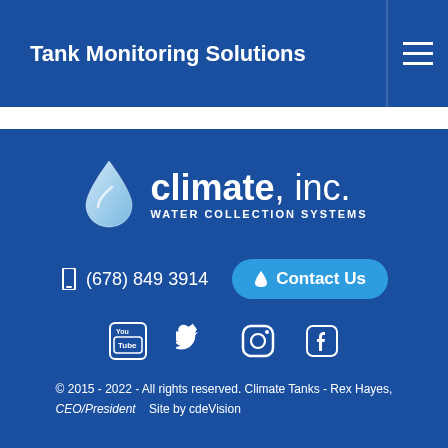Tank Monitoring Solutions
[Figure (logo): Climate, inc. Water Collection Systems logo with water drop icon]
(678) 849 3914
Contact Us
[Figure (illustration): Social media icons: YouTube, Twitter, Instagram, Facebook]
© 2015 - 2022 - All rights reserved. Climate Tanks - Rex Hayes, CEO/President    Site by cdeVision